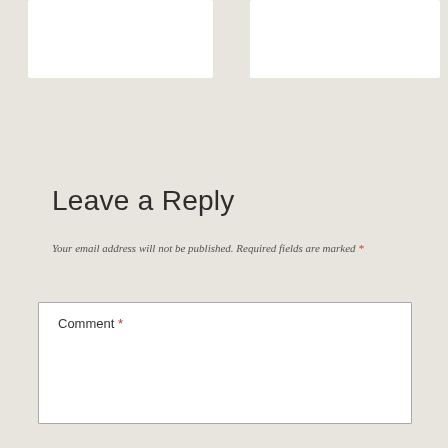[Figure (other): Two white card elements side by side on a beige/tan background at the top of the page]
Leave a Reply
Your email address will not be published. Required fields are marked *
Comment *